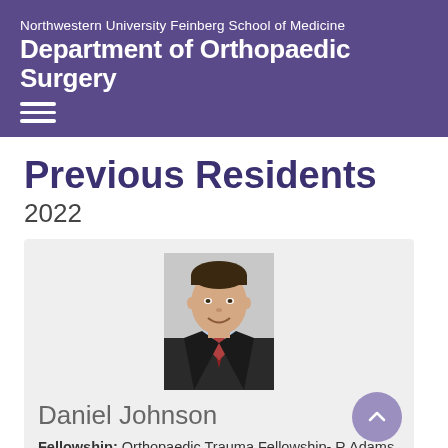Northwestern University Feinberg School of Medicine
Department of Orthopaedic Surgery
Previous Residents
2022
[Figure (photo): Professional headshot of Daniel Johnson, a young man in a dark suit with a red tie, smiling]
Daniel Johnson
Fellowship: Orthopaedic Trauma Fellowship- R Adams Cowley Shock Trauma Center at University of